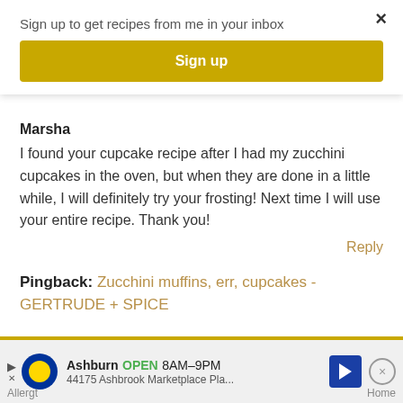Sign up to get recipes from me in your inbox
Sign up
×
Marsha
I found your cupcake recipe after I had my zucchini cupcakes in the oven, but when they are done in a little while, I will definitely try your frosting! Next time I will use your entire recipe. Thank you!
Reply
Pingback: Zucchini muffins, err, cupcakes - GERTRUDE + SPICE
Ashburn OPEN 8AM–9PM 44175 Ashbrook Marketplace Pla...